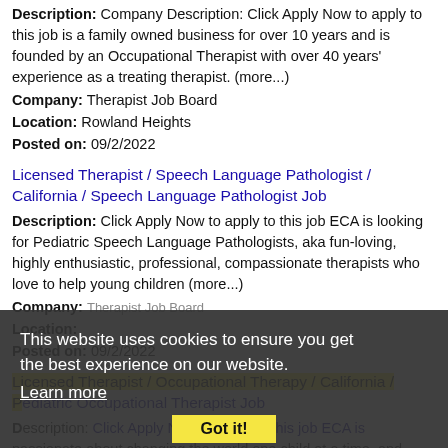Description: Company Description: Click Apply Now to apply to this job is a family owned business for over 10 years and is founded by an Occupational Therapist with over 40 years' experience as a treating therapist. (more...)
Company: Therapist Job Board
Location: Rowland Heights
Posted on: 09/2/2022
Licensed Therapist / Speech Language Pathologist / California / Speech Language Pathologist Job
Description: Click Apply Now to apply to this job ECA is looking for Pediatric Speech Language Pathologists, aka fun-loving, highly enthusiastic, professional, compassionate therapists who love to help young children (more...)
Company: Therapist Job Board
Location:
Posted on: 09/2/2022
Licensed Therapist / Occupational Therapy / California / Pediatric Occupational Therapist Job
Description: Click Apply Now to apply to this job ECA is passionate about changing the world one child at a time, and through that vision, we are expanding. ECA currently has a rewarding
This website uses cookies to ensure you get the best experience on our website.
Learn more
Got it!